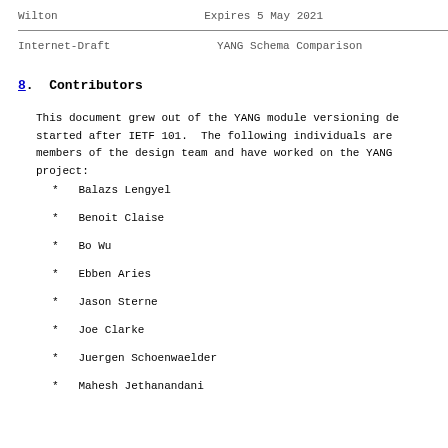Wilton                         Expires 5 May 2021
Internet-Draft                 YANG Schema Comparison
8.  Contributors
This document grew out of the YANG module versioning de started after IETF 101.  The following individuals are members of the design team and have worked on the YANG project:
*   Balazs Lengyel
*   Benoit Claise
*   Bo Wu
*   Ebben Aries
*   Jason Sterne
*   Joe Clarke
*   Juergen Schoenwaelder
*   Mahesh Jethanandani